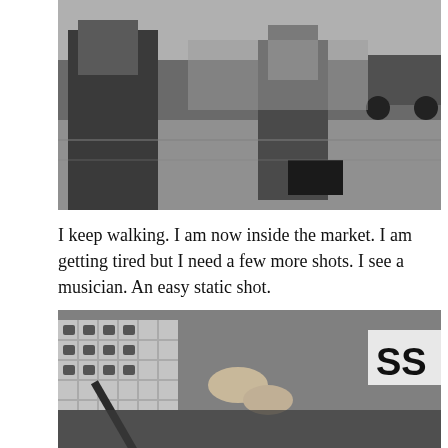[Figure (photo): Black and white street photograph showing two people on a city sidewalk. One person in overalls and another person wearing a hard hat carrying a toolbox. Cars and pedestrians visible in background.]
I keep walking. I am now inside the market. I am getting tired but I need a few more shots. I see a musician. An easy static shot.
[Figure (photo): Black and white close-up photograph of a musician's hands playing a flute or similar wind instrument. A white milk crate and partial text 'SS' visible in background.]